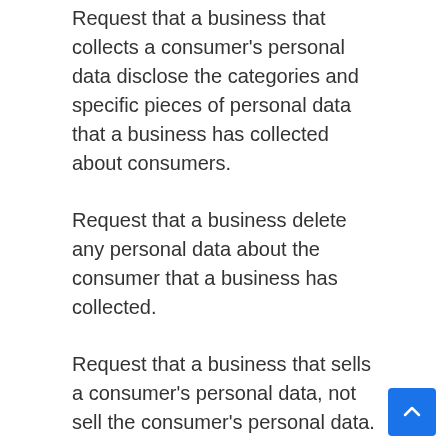Request that a business that collects a consumer's personal data disclose the categories and specific pieces of personal data that a business has collected about consumers.
Request that a business delete any personal data about the consumer that a business has collected.
Request that a business that sells a consumer's personal data, not sell the consumer's personal data.
If you make a request, we have one month to respond to you. If you would like to exercise any of these rights, please contact us.
GDPR Data Protection Rights
We would like to make sure you are fully aware of all of your data protection rights. Every user is entitled to the